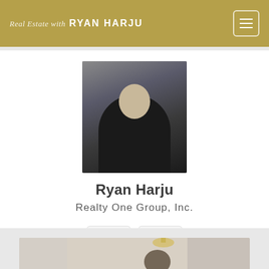Real Estate with RYAN HARJU
[Figure (photo): Professional headshot of Ryan Harju, a man in a dark blazer with a beard, photographed against a stone/concrete background]
Ryan Harju
Realty One Group, Inc.
[Figure (infographic): Two contact icon buttons: a phone icon and an email/envelope icon, styled with gold icons on light gray rounded square backgrounds]
[Figure (photo): Partial view of a lifestyle/interior photo showing a person in what appears to be a kitchen or living space]